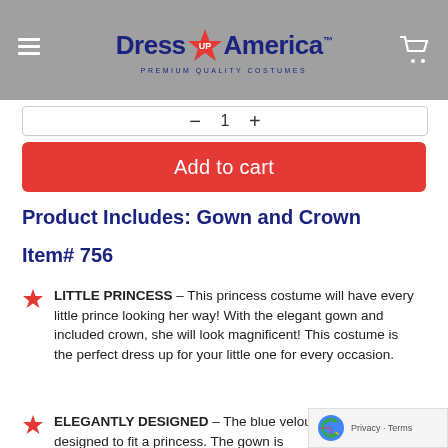Dress UP America - PREMIUM QUALITY COSTUMES
Product Includes: Gown and Crown
Item# 756
LITTLE PRINCESS – This princess costume will have every little prince looking her way! With the elegant gown and included crown, she will look magnificent! This costume is the perfect dress up for your little one for every occasion.
ELEGANTLY DESIGNED – The blue velour and gown is designed to fit a princess. The gown is